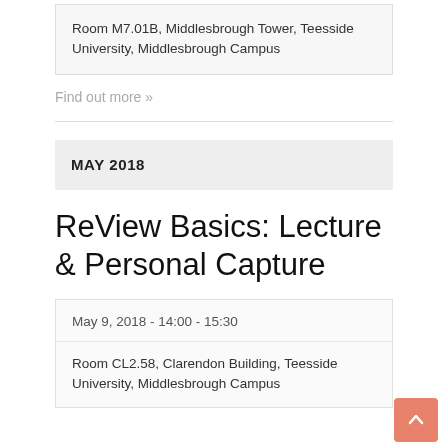Room M7.01B, Middlesbrough Tower, Teesside University, Middlesbrough Campus
Find out more »
MAY 2018
ReView Basics: Lecture & Personal Capture
May 9, 2018 - 14:00 - 15:30
Room CL2.58, Clarendon Building, Teesside University, Middlesbrough Campus